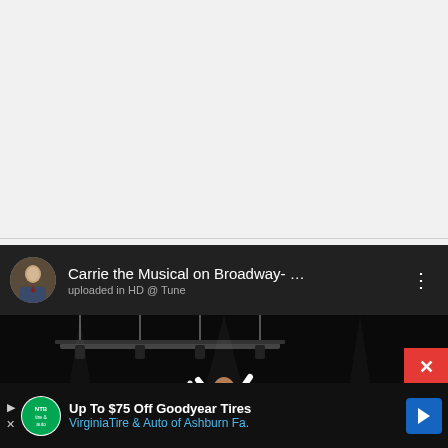[Figure (screenshot): Top white/light-gray blank area of a web page]
[Figure (screenshot): YouTube video panel showing 'Carrie the Musical on Broadway- Je...' with a profile avatar, three-dot menu, subtitle 'uploaded in HD @ Tune', and a dark concert/stage image with performers in white clothing raising arms]
[Figure (screenshot): Advertisement bar: 'Up To $75 Off Goodyear Tires' / 'VirginiaTire & Auto of Ashburn Fa.' with NTB/auto logo, navigation arrow icon, close X button (red)]